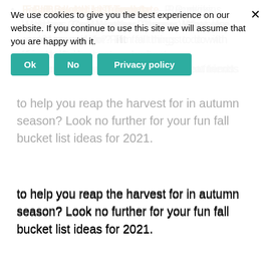Fall Bucket List Template — Pumpkins, Holidays, Cool Weather, Planner. What else could you ask for? Fun fall things to do with friends. It el o best season of the year without some great friends
We use cookies to give you the best experience on our website. If you continue to use this site we will assume that you are happy with it.
to help you reap the harvest for in autumn season? Look no further for your fun fall bucket list ideas for 2021.
Read the Full Post: 42 Amazing Fall Things to Do with Friends
Social Media Detox Tips — If you're embarking on a social media detox or just want to take a break from social media, you don't want to do it without these 7 keys to